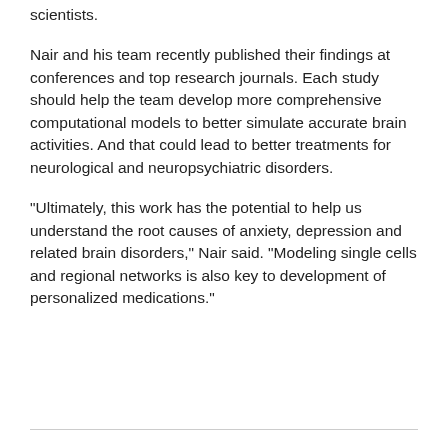scientists.
Nair and his team recently published their findings at conferences and top research journals. Each study should help the team develop more comprehensive computational models to better simulate accurate brain activities. And that could lead to better treatments for neurological and neuropsychiatric disorders.
“Ultimately, this work has the potential to help us understand the root causes of anxiety, depression and related brain disorders,” Nair said. “Modeling single cells and regional networks is also key to development of personalized medications.”